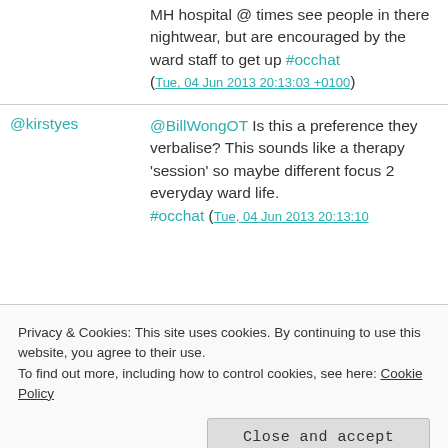MH hospital @ times see people in there nightwear, but are encouraged by the ward staff to get up #occhat (Tue, 04 Jun 2013 20:13:03 +0100)
@kirstyes
@BillWongOT Is this a preference they verbalise? This sounds like a therapy 'session' so maybe different focus 2 everyday ward life. #occhat (Tue, 04 Jun 2013 20:13:10
Privacy & Cookies: This site uses cookies. By continuing to use this website, you agree to their use. To find out more, including how to control cookies, see here: Cookie Policy
Close and accept
+0100)